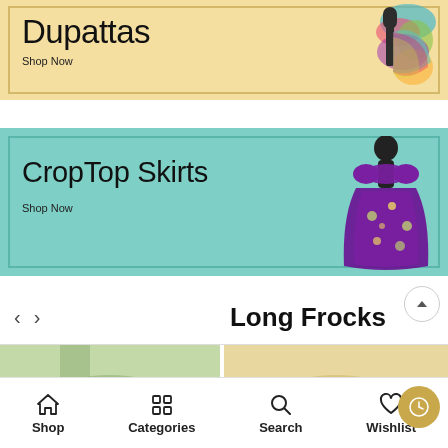[Figure (screenshot): Dupattas promotional banner with yellow/cream background, colorful dupatta draped on mannequin, text 'Dupattas' and 'Shop Now']
[Figure (screenshot): CropTop Skirts promotional banner with teal background, purple floral skirt on mannequin, text 'CropTop Skirts' and 'Shop Now']
Long Frocks
[Figure (screenshot): Product row showing two long frock product thumbnails with heart/wishlist icons]
[Figure (screenshot): Bottom navigation bar with Shop, Categories, Search, Wishlist icons]